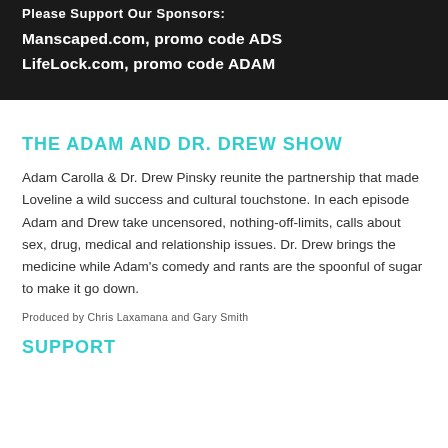Please Support Our Sponsors:
Manscaped.com, promo code ADS
LifeLock.com, promo code ADAM
THE ADAM AND DR. DREW SHOW
Adam Carolla & Dr. Drew Pinsky reunite the partnership that made Loveline a wild success and cultural touchstone. In each episode Adam and Drew take uncensored, nothing-off-limits, calls about sex, drug, medical and relationship issues. Dr. Drew brings the medicine while Adam's comedy and rants are the spoonful of sugar to make it go down.
Produced by Chris Laxamana and Gary Smith
SUPPORT